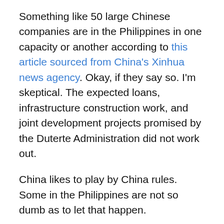Something like 50 large Chinese companies are in the Philippines in one capacity or another according to this article sourced from China's Xinhua news agency. Okay, if they say so. I'm skeptical. The expected loans, infrastructure construction work, and joint development projects promised by the Duterte Administration did not work out.
China likes to play by China rules. Some in the Philippines are not so dumb as to let that happen.
So Pogos and Dennis Uy's conglomerate, in association with China Telecom. Favored businesses.
That's what is driving the Philippines, beyond all sense, security, and reason, to align with China. And that is what drives some aspects of domestic policy, like when to stop troublesome the Philippines and China claiming...